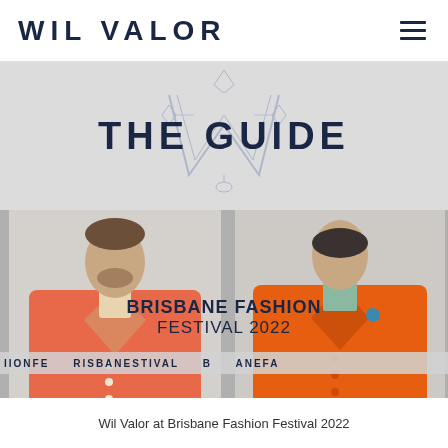WIL VALOR
THE GUIDE
[Figure (photo): Two models at Brisbane Fashion Festival 2022: man in coral/salmon double-breasted suit on left, woman in orange double-breasted suit with blue boutonniere on right. Text overlay reads BRISBANE FASHION FESTIVAL 2022 with ticker text partially visible at bottom of image.]
Wil Valor at Brisbane Fashion Festival 2022